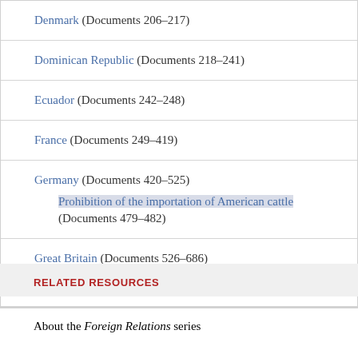Denmark (Documents 206–217)
Dominican Republic (Documents 218–241)
Ecuador (Documents 242–248)
France (Documents 249–419)
Germany (Documents 420–525)
  Prohibition of the importation of American cattle (Documents 479–482)
Great Britain (Documents 526–686)
RELATED RESOURCES
About the Foreign Relations series